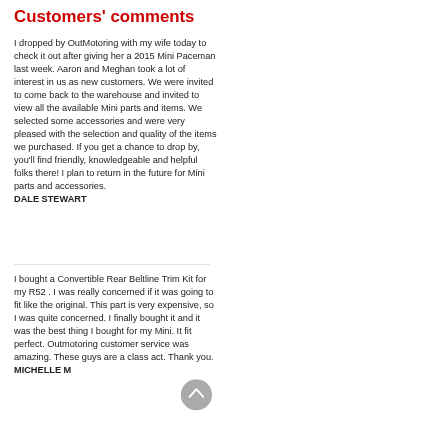Customers' comments
I dropped by OutMotoring with my wife today to check it out after giving her a 2015 Mini Paceman last week. Aaron and Meghan took a lot of interest in us as new customers. We were invited to come back to the warehouse and invited to view all the available Mini parts and items. We selected some accessories and were very pleased with the selection and quality of the items we purchased. If you get a chance to drop by, you'll find friendly, knowledgeable and helpful folks there! I plan to return in the future for Mini parts and accessories.
DALE STEWART
I bought a Convertible Rear Beltline Trim Kit for my R52 . I was really concerned if it was going to fit like the original. This part is very expensive, so I was quite concerned. I finally bought it and it was the best thing I bought for my Mini. It fit perfect. Outmotoring customer service was amazing. These guys are a class act. Thank you.
MICHELLE M